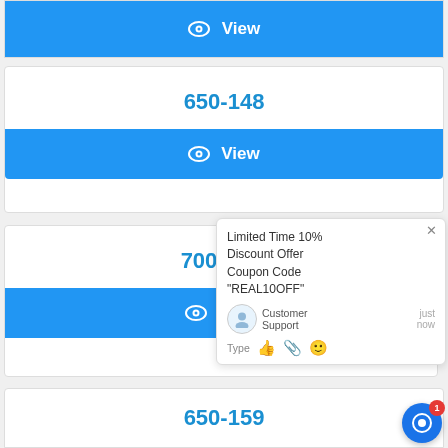[Figure (screenshot): Blue View button bar (partial, cropped at top)]
650-148
[Figure (screenshot): Blue View button for 650-148]
700-101
[Figure (screenshot): Blue View button for 700-101 with chat popup overlay showing: Limited Time 10% Discount Offer Coupon Code "REAL10OFF" Customer Support just now Type]
650-159
[Figure (screenshot): Chat bubble icon with red badge showing 1]